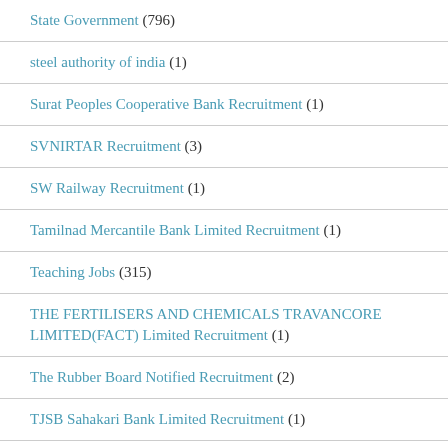State Government (796)
steel authority of india (1)
Surat Peoples Cooperative Bank Recruitment (1)
SVNIRTAR Recruitment (3)
SW Railway Recruitment (1)
Tamilnad Mercantile Bank Limited Recruitment (1)
Teaching Jobs (315)
THE FERTILISERS AND CHEMICALS TRAVANCORE LIMITED(FACT) Limited Recruitment (1)
The Rubber Board Notified Recruitment (2)
TJSB Sahakari Bank Limited Recruitment (1)
TNEB (4)
TNEDC Recruitment (1)